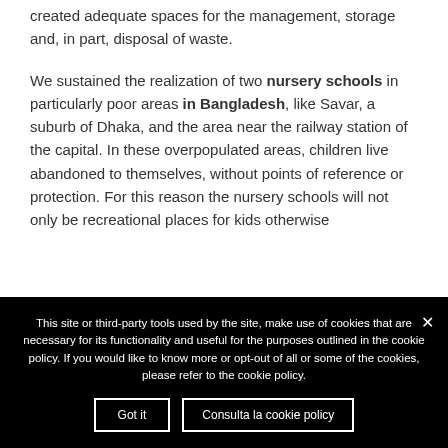created adequate spaces for the management, storage and, in part, disposal of waste. We sustained the realization of two nursery schools in particularly poor areas in Bangladesh, like Savar, a suburb of Dhaka, and the area near the railway station of the capital. In these overpopulated areas, children live abandoned to themselves, without points of reference or protection. For this reason the nursery schools will not only be recreational places for kids otherwise...
This site or third-party tools used by the site, make use of cookies that are necessary for its functionality and useful for the purposes outlined in the cookie policy. If you would like to know more or opt-out of all or some of the cookies, please refer to the cookie policy.